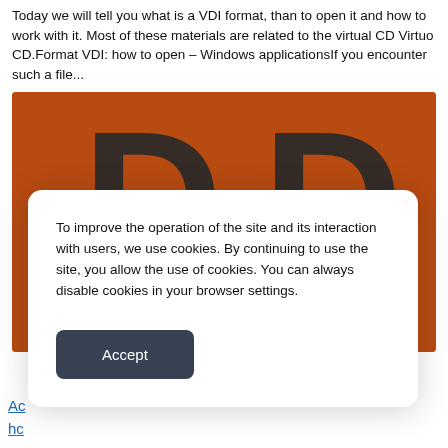Today we will tell you what is a VDI format, than to open it and how to work with it. Most of these materials are related to the virtual CD Virtuo CD.Format VDI: how to open – Windows applicationsIf you encounter such a file...
[Figure (photo): Orange background with a large dark letter D/P partially visible, behind a cookie consent modal dialog]
To improve the operation of the site and its interaction with users, we use cookies. By continuing to use the site, you allow the use of cookies. You can always disable cookies in your browser settings.
Accept